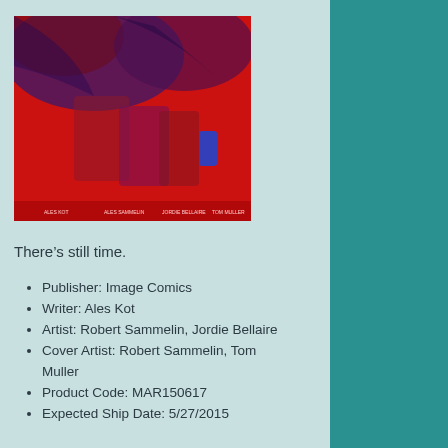[Figure (illustration): Comic book cover art with red and dark blue/purple tones showing abstract figures and cityscape, with small text credits at bottom]
There’s still time.
Publisher: Image Comics
Writer: Ales Kot
Artist: Robert Sammelin, Jordie Bellaire
Cover Artist: Robert Sammelin, Tom Muller
Product Code: MAR150617
Expected Ship Date: 5/27/2015